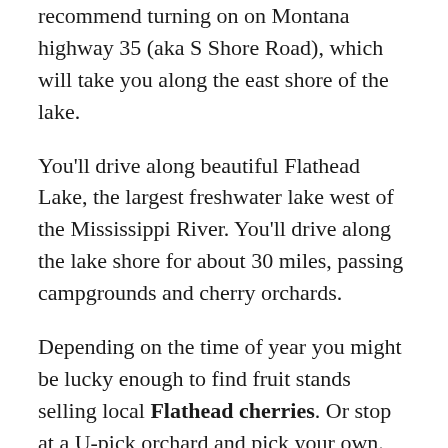recommend turning on on Montana highway 35 (aka S Shore Road), which will take you along the east shore of the lake.
You'll drive along beautiful Flathead Lake, the largest freshwater lake west of the Mississippi River. You'll drive along the lake shore for about 30 miles, passing campgrounds and cherry orchards.
Depending on the time of year you might be lucky enough to find fruit stands selling local Flathead cherries. Or stop at a U-pick orchard and pick your own. Montana cherries make a refreshing and delicious (although sort of messy) road trip snack.
About 15 miles past Bigfork, you'll turn onto